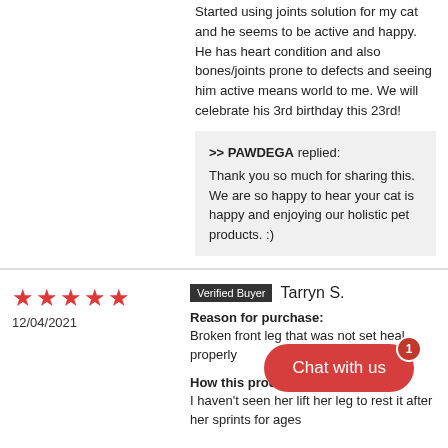Started using joints solution for my cat and he seems to be active and happy. He has heart condition and also bones/joints prone to defects and seeing him active means world to me. We will celebrate his 3rd birthday this 23rd!
>> PAWDEGA replied: Thank you so much for sharing this. We are so happy to hear your cat is happy and enjoying our holistic pet products. :)
★★★★★ 12/04/2021
Verified Buyer  Tarryn S.
Reason for purchase: Broken front leg that was not set heal properly
How this product he... I haven't seen her lift her leg to rest it after her sprints for ages